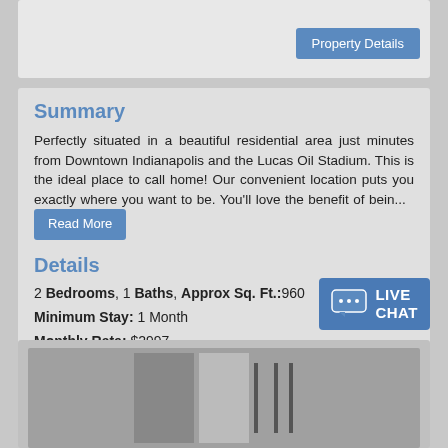[Figure (screenshot): Top card with Property Details button]
Summary
Perfectly situated in a beautiful residential area just minutes from Downtown Indianapolis and the Lucas Oil Stadium. This is the ideal place to call home! Our convenient location puts you exactly where you want to be. You'll love the benefit of bein...
Details
2 Bedrooms, 1 Baths, Approx Sq. Ft.:960
Minimum Stay: 1 Month
Monthly Rate: $2997
[Figure (screenshot): Bottom card with partial property photo]